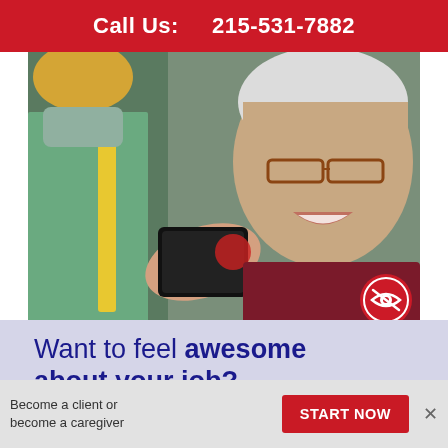Call Us:   215-531-7882
[Figure (photo): A caregiver wearing a mask and colorful patterned top holds a smartphone; an elderly woman with white hair and glasses smiles looking at the phone screen. A red circle with an eye-slash icon appears in the bottom-right corner of the photo.]
Want to feel awesome about your job?
Become a client or become a caregiver
START NOW
x